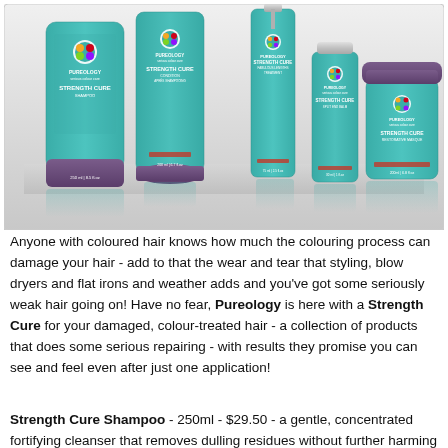[Figure (photo): Product photo showing five Pureology Strength Cure haircare products (shampoo, conditioner, treatment, split end balm, restorative masque) arranged together on a reflective surface. Products are teal/turquoise colored bottles and jars with the Pureology logo and colorful circular logo mark.]
Anyone with coloured hair knows how much the colouring process can damage your hair - add to that the wear and tear that styling, blow dryers and flat irons and weather adds and you've got some seriously weak hair going on! Have no fear, Pureology is here with a Strength Cure for your damaged, colour-treated hair - a collection of products that does some serious repairing - with results they promise you can see and feel even after just one application!
Strength Cure Shampoo - 250ml - $29.50 - a gentle, concentrated fortifying cleanser that removes dulling residues without further harming